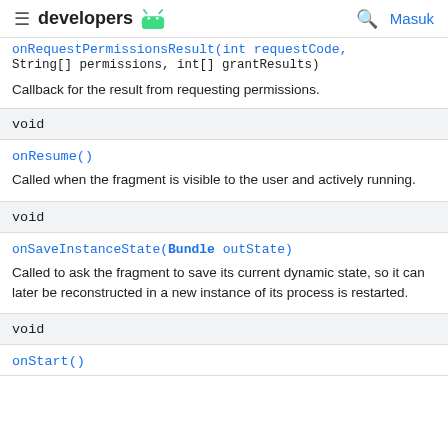developers [android logo] | [search] Masuk
| onRequestPermissionsResult(int requestCode, String[] permissions, int[] grantResults) | Callback for the result from requesting permissions. |
| void | onResume() | Called when the fragment is visible to the user and actively running. |
| void | onSaveInstanceState(Bundle outState) | Called to ask the fragment to save its current dynamic state, so it can later be reconstructed in a new instance of its process is restarted. |
| void | onStart() |  |